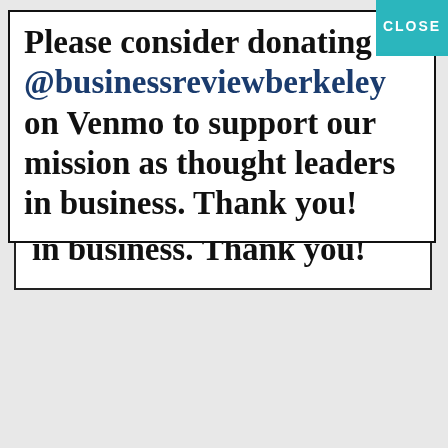Please consider donating to @businessreviewberkeley on Venmo to support our mission as thought leaders in business. Thank you!
information purposes only. Business Review at Berkeley does not make any warranties about the completeness, reliability and/or accuracy of this information. Any action you take upon the information you find on this website is strictly at your own risk. Business Review at Berkeley will not be liable for any losses and/or damages in connection with the use of our website.